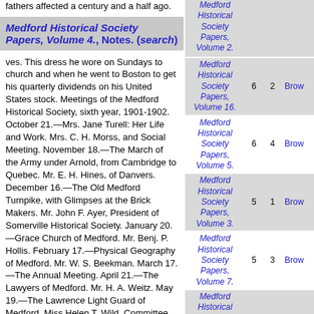fathers affected a century and a half ago.
Medford Historical Society Papers, Volume 4., Notes. (search)
ves. This dress he wore on Sundays to church and when he went to Boston to get his quarterly dividends on his United States stock. Meetings of the Medford Historical Society, sixth year, 1901-1902. October 21.—Mrs. Jane Turell: Her Life and Work. Mrs. C. H. Morss, and Social Meeting. November 18.—The March of the Army under Arnold, from Cambridge to Quebec. Mr. E. H. Hines, of Danvers. December 16.—The Old Medford Turnpike, with Glimpses at the Brick Makers. Mr. John F. Ayer, President of Somerville Historical Society. January 20.—Grace Church of Medford. Mr. Benj. P. Hollis. February 17.—Physical Geography of Medford. Mr. W. S. Beekman. March 17.—The Annual Meeting. April 21.—The Lawyers of Medford. Mr. H. A. Weitz. May 19.—The Lawrence Light Guard of Medford. Miss Helen T. Wild. Committee on papers and addresses. David H. Brown, Chairman. John H. Hooper. John Ward dean. Miss Agnes W. Lincoln. Dr. R. J. P. Goodwin. Willi
| Title |  |  |  |
| --- | --- | --- | --- |
| Medford Historical Society Papers, Volume 2. |  |  |  |
| Medford Historical Society Papers, Volume 16. | 6 | 2 | Brow |
| Medford Historical Society Papers, Volume 5. | 6 | 4 | Brow |
| Medford Historical Society Papers, Volume 3. | 5 | 1 | Brow |
| Medford Historical Society Papers, Volume 7. | 5 | 3 | Brow |
| Medford Historical Society Papers, Volume 9. | 5 | 3 | Brow |
| Medford Historical Society Papers, Volume 1. | 4 | 2 | Brow |
View all matching